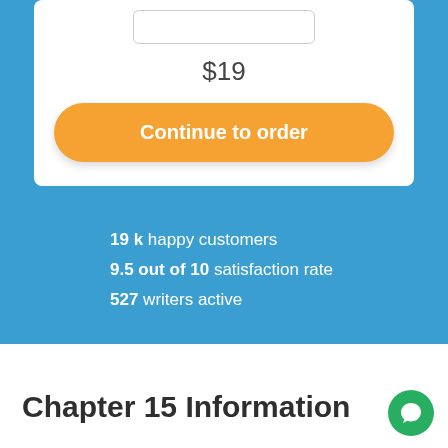$19
Continue to order
19 k happy customers
9.5 out of 10 satisfaction rate
527 writers active
Chapter 15 Information